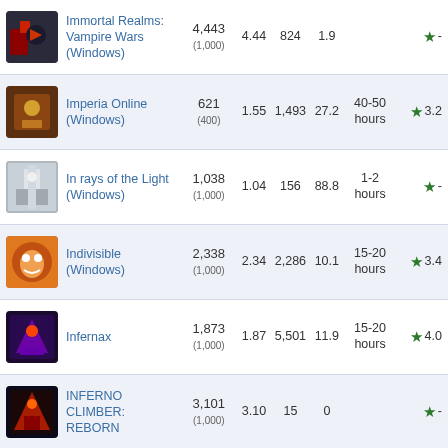| Game | Owners | Ratio | Reviews | % | Time | Rating |
| --- | --- | --- | --- | --- | --- | --- |
| Immortal Realms: Vampire Wars (Windows) | 4,443 (1,000) | 4.44 | 824 | 1.9 | - | ★ - |
| Imperia Online (Windows) | 621 (400) | 1.55 | 1,493 | 27.2 | 40-50 hours | ★ 3.2 |
| In rays of the Light (Windows) | 1,038 (1,000) | 1.04 | 156 | 88.8 | 1-2 hours | ★ - |
| Indivisible (Windows) | 2,338 (1,000) | 2.34 | 2,286 | 10.1 | 15-20 hours | ★ 3.4 |
| Infernax | 1,873 (1,000) | 1.87 | 5,501 | 11.9 | 15-20 hours | ★ 4.0 |
| INFERNO CLIMBER: REBORN | 3,101 (1,000) | 3.10 | 15 | 0 | - | ★ - |